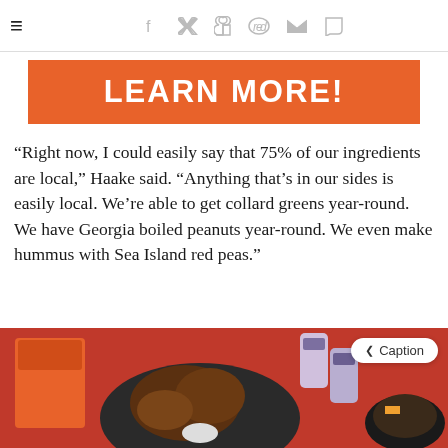≡  f  𝗒  𝗽  𝗿  ✉  💬
[Figure (other): Orange banner advertisement with bold white text reading LEARN MORE!]
“Right now, I could easily say that 75% of our ingredients are local,” Haake said. “Anything that’s in our sides is easily local. We’re able to get collard greens year-round. We have Georgia boiled peanuts year-round. We even make hummus with Sea Island red peas.”
[Figure (photo): Food photo on orange background showing fried food in a bowl, a beverage can, and takeout containers on an orange surface. Caption button visible.]